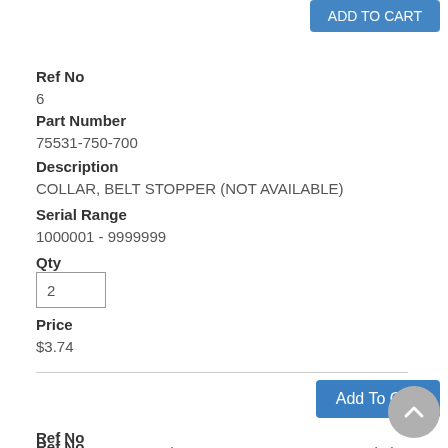Ref No
6
Part Number
75531-750-700
Description
COLLAR, BELT STOPPER (NOT AVAILABLE)
Serial Range
1000001 - 9999999
Qty
2
Price
$3.74
Add To Cart
Ref No
7
Part Number
75540-769-L00
Description